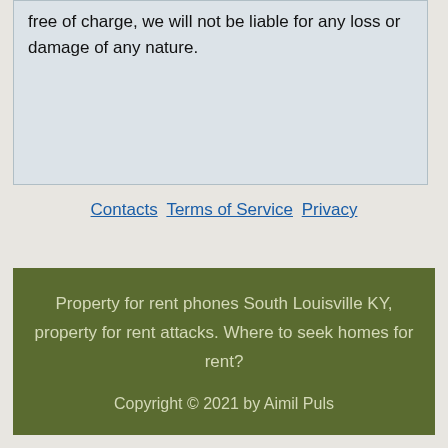free of charge, we will not be liable for any loss or damage of any nature.
Contacts Terms of Service Privacy
Property for rent phones South Louisville KY, property for rent attacks. Where to seek homes for rent?
Copyright © 2021 by Aimil Puls